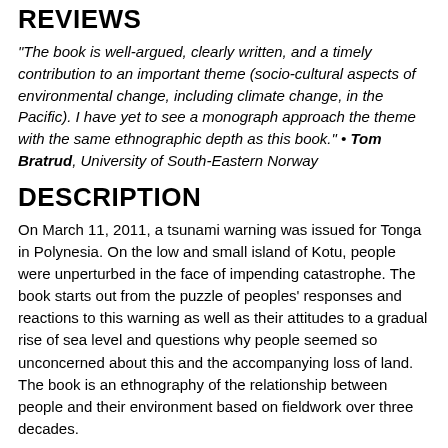REVIEWS
“The book is well-argued, clearly written, and a timely contribution to an important theme (socio-cultural aspects of environmental change, including climate change, in the Pacific). I have yet to see a monograph approach the theme with the same ethnographic depth as this book.” • Tom Bratrud, University of South-Eastern Norway
DESCRIPTION
On March 11, 2011, a tsunami warning was issued for Tonga in Polynesia. On the low and small island of Kotu, people were unperturbed in the face of impending catastrophe. The book starts out from the puzzle of peoples’ responses and reactions to this warning as well as their attitudes to a gradual rise of sea level and questions why people seemed so unconcerned about this and the accompanying loss of land. The book is an ethnography of the relationship between people and their environment based on fieldwork over three decades.
Arne Aleksej Perminow is Associate Professor of Social